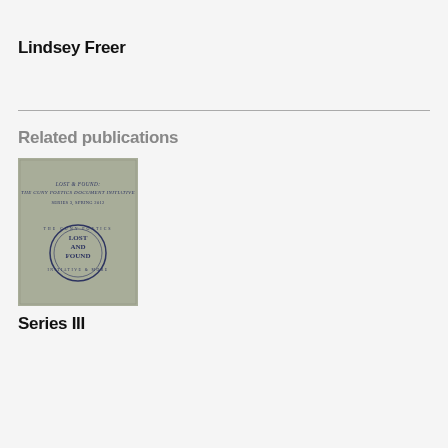Lindsey Freer
Related publications
[Figure (photo): Book cover of Lost & Found: The CUNY Poetics Document Initiative, Series 3, Spring 2012. Gray-green cover with circular stamp reading LOST AND FOUND.]
Series III